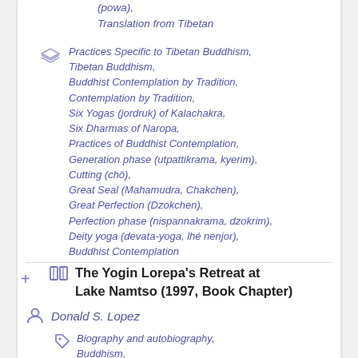(powa),
Translation from Tibetan
Practices Specific to Tibetan Buddhism, Tibetan Buddhism, Buddhist Contemplation by Tradition, Contemplation by Tradition, Six Yogas (jordruk) of Kalachakra, Six Dharmas of Naropa, Practices of Buddhist Contemplation, Generation phase (utpattikrama, kyerim), Cutting (chö), Great Seal (Mahamudra, Chakchen), Great Perfection (Dzokchen), Perfection phase (nispannakrama, dzokrim), Deity yoga (devata-yoga, lhé nenjor), Buddhist Contemplation
The Yogin Lorepa's Retreat at Lake Namtso (1997, Book Chapter)
Donald S. Lopez
Biography and autobiography, Buddhism,